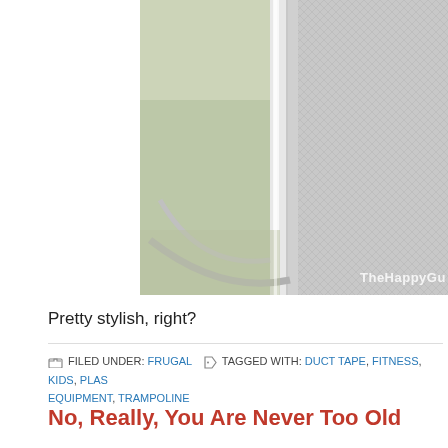[Figure (photo): Partial photo of a trampoline with safety net netting and metal poles, outdoor setting with grass visible, watermark 'TheHappyGu' in lower right corner]
Pretty stylish, right?
FILED UNDER: FRUGAL   TAGGED WITH: DUCT TAPE, FITNESS, KIDS, PLAS... EQUIPMENT, TRAMPOLINE
No, Really, You Are Never Too Old